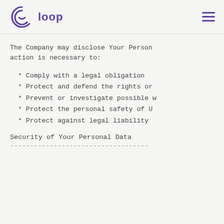[Figure (logo): Loop logo: circular smiley face icon in purple with the word 'loop' in purple bold text beside it]
The Company may disclose Your Personal Data when such action is necessary to:
* Comply with a legal obligation
* Protect and defend the rights or
* Prevent or investigate possible w
* Protect the personal safety of U
* Protect against legal liability
Security of Your Personal Data
-----------------------------------